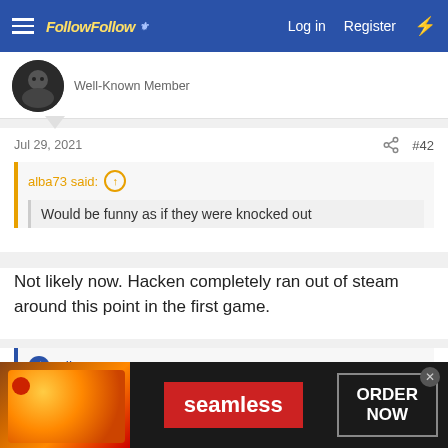FollowFollow | Log in | Register
Well-Known Member
Jul 29, 2021  #42
alba73 said: ↑
Would be funny as if they were knocked out
Not likely now. Hacken completely ran out of steam around this point in the first game.
👍 alba73
[Figure (screenshot): Seamless food delivery advertisement banner with pizza image, red Seamless logo, and ORDER NOW button]